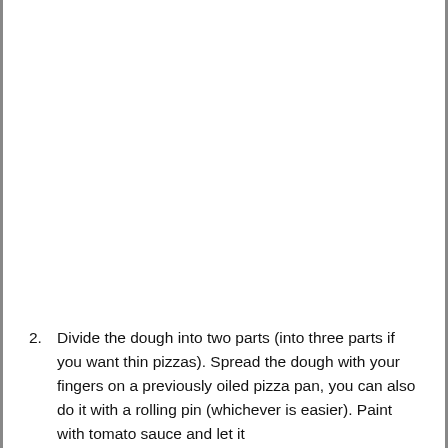2. Divide the dough into two parts (into three parts if you want thin pizzas). Spread the dough with your fingers on a previously oiled pizza pan, you can also do it with a rolling pin (whichever is easier). Paint with tomato sauce and let it...